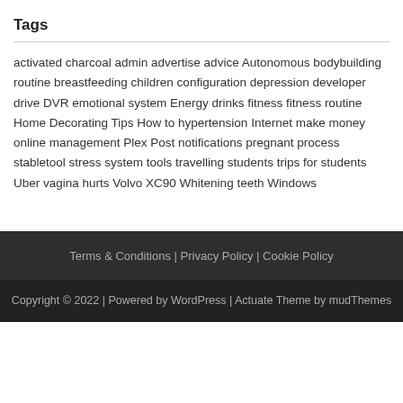Tags
activated charcoal admin advertise advice Autonomous bodybuilding routine breastfeeding children configuration depression developer drive DVR emotional system Energy drinks fitness fitness routine Home Decorating Tips How to hypertension Internet make money online management Plex Post notifications pregnant process stabletool stress system tools travelling students trips for students Uber vagina hurts Volvo XC90 Whitening teeth Windows
Terms & Conditions | Privacy Policy | Cookie Policy
Copyright © 2022 | Powered by WordPress | Actuate Theme by mudThemes